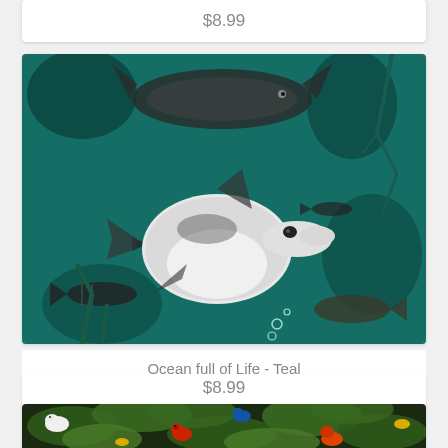$8.99
[Figure (photo): Fabric pattern showing underwater ocean scene with dolphins, fish, and sea life on a teal background - Ocean full of Life Teal pattern]
Ocean full of Life - Teal
$8.99
[Figure (photo): Fabric pattern showing tropical jungle scene with colorful parrots and large green leaves on a dark background]